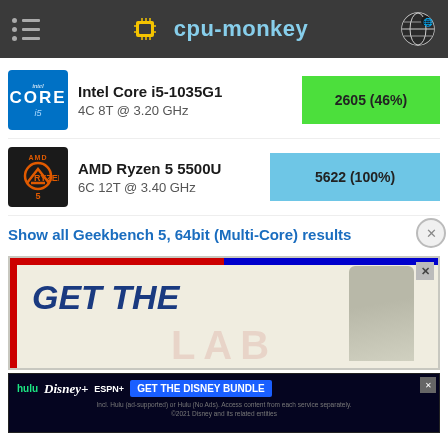cpu-monkey
[Figure (bar-chart): Geekbench 5, 64bit (Multi-Core)]
Intel Core i5-1035G1
4C 8T @ 3.20 GHz
AMD Ryzen 5 5500U
6C 12T @ 3.40 GHz
Show all Geekbench 5, 64bit (Multi-Core) results
[Figure (screenshot): Advertisement showing 'GET THE' text with a person image]
[Figure (screenshot): Disney Bundle advertisement: hulu Disney+ ESPN+ GET THE DISNEY BUNDLE]